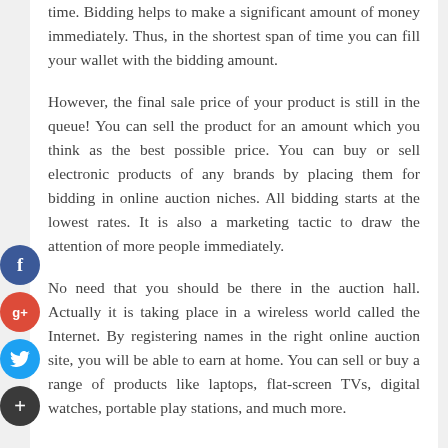time. Bidding helps to make a significant amount of money immediately. Thus, in the shortest span of time you can fill your wallet with the bidding amount.

However, the final sale price of your product is still in the queue! You can sell the product for an amount which you think as the best possible price. You can buy or sell electronic products of any brands by placing them for bidding in online auction niches. All bidding starts at the lowest rates. It is also a marketing tactic to draw the attention of more people immediately.

No need that you should be there in the auction hall. Actually it is taking place in a wireless world called the Internet. By registering names in the right online auction site, you will be able to earn at home. You can sell or buy a range of products like laptops, flat-screen TVs, digital watches, portable play stations, and much more.